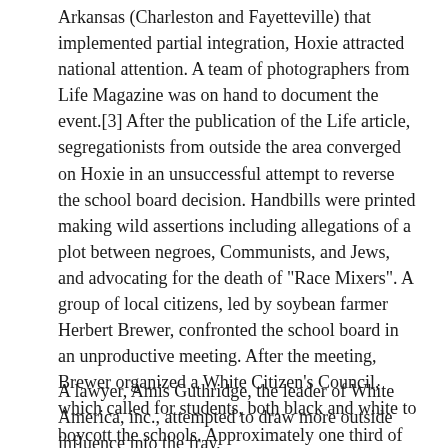Arkansas (Charleston and Fayetteville) that implemented partial integration, Hoxie attracted national attention. A team of photographers from Life Magazine was on hand to document the event.[3] After the publication of the Life article, segregationists from outside the area converged on Hoxie in an unsuccessful attempt to reverse the school board decision. Handbills were printed making wild assertions including allegations of a plot between negroes, Communists, and Jews, and advocating for the death of "Race Mixers". A group of local citizens, led by soybean farmer Herbert Brewer, confronted the school board in an unproductive meeting. After the meeting, Brewer organized a White Citizen's Council, which called for students, both black and white to boycott the schools. Approximately one third of the white students refused to attend the schools beginning on August 4, 1955.
A lawyer, Amis Guthridge, the leader of White America, inc., attempted to draw more outside influence into the fray,